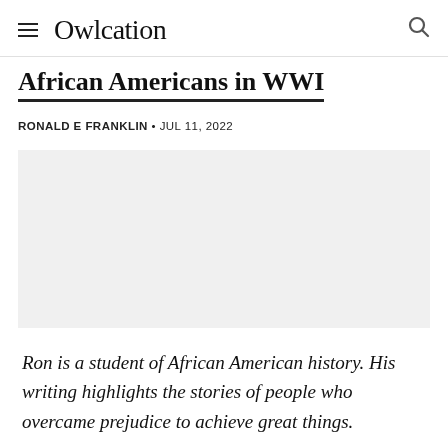Owlcation
African Americans in WWI
RONALD E FRANKLIN • JUL 11, 2022
[Figure (photo): Large image placeholder related to African Americans in WWI article]
Ron is a student of African American history. His writing highlights the stories of people who overcame prejudice to achieve great things.